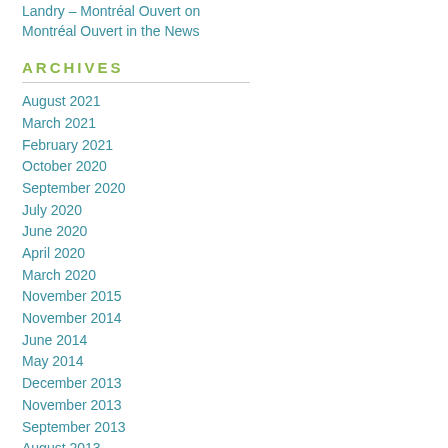Landry – Montréal Ouvert on Montréal Ouvert in the News
ARCHIVES
August 2021
March 2021
February 2021
October 2020
September 2020
July 2020
June 2020
April 2020
March 2020
November 2015
November 2014
June 2014
May 2014
December 2013
November 2013
September 2013
August 2013
July 2013